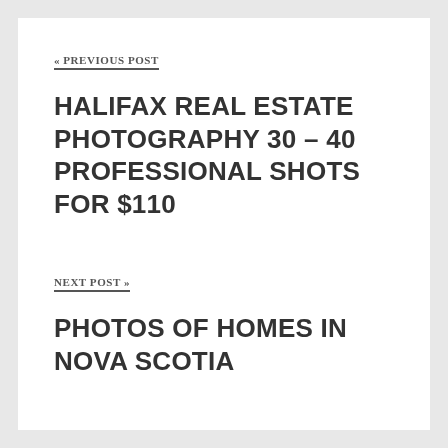« PREVIOUS POST
HALIFAX REAL ESTATE PHOTOGRAPHY 30 – 40 PROFESSIONAL SHOTS FOR $110
NEXT POST »
PHOTOS OF HOMES IN NOVA SCOTIA